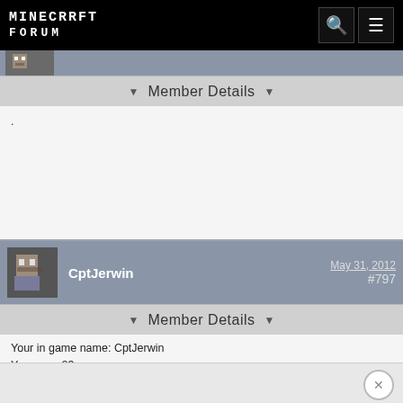Minecraft Forum
Member Details
.
CptJerwin  May 31, 2012  #797
Member Details
Your in game name: CptJerwin
Your age: 23
Your favorite Minecraft things to do: Think of new things to build, for the most part I build battleships or castles.